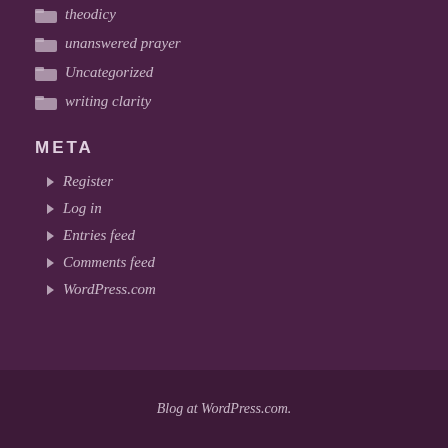theodicy
unanswered prayer
Uncategorized
writing clarity
META
Register
Log in
Entries feed
Comments feed
WordPress.com
Blog at WordPress.com.